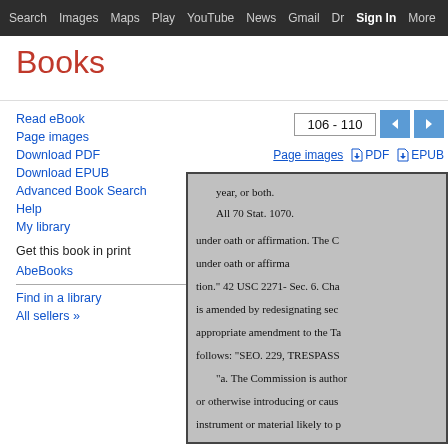Search  Images  Maps  Play  YouTube  News  Gmail  Dr  Sign In  More  ⚙
Books
Read eBook
Page images
Download PDF
Download EPUB
Advanced Book Search
Help
My library
Get this book in print
AbeBooks
Find in a library
All sellers »
[Figure (screenshot): Google Books page viewer showing pages 106-110 of a government document about the Atomic Energy Commission. The visible text includes references to 70 Stat. 1070, oath or affirmation, 42 USC 2271, Sec. 6, trespass provisions, and Commission authority regarding facilities and materials.]